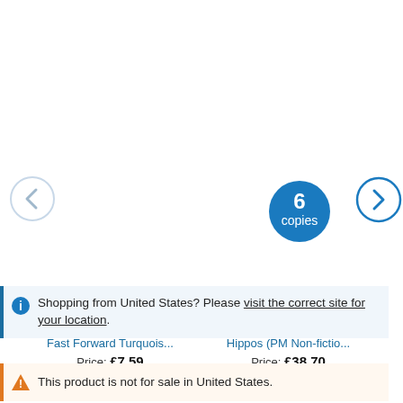[Figure (screenshot): Left navigation arrow (chevron left), light grey circle outline]
[Figure (screenshot): Badge showing '6 copies' in white text on a dark blue filled circle]
[Figure (screenshot): Right navigation arrow (chevron right), dark blue circle outline]
Fast Forward Turquois...
Price: £7.59
Not available to buy with Rewards
Hippos (PM Non-fictio...
Price: £38.70
Not available to buy with Rewards
H
Shopping from United States? Please visit the correct site for your location.
This product is not for sale in United States.